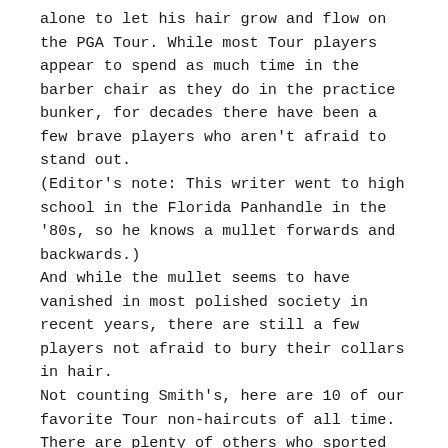alone to let his hair grow and flow on the PGA Tour. While most Tour players appear to spend as much time in the barber chair as they do in the practice bunker, for decades there have been a few brave players who aren't afraid to stand out.
(Editor's note: This writer went to high school in the Florida Panhandle in the '80s, so he knows a mullet forwards and backwards.)
And while the mullet seems to have vanished in most polished society in recent years, there are still a few players not afraid to bury their collars in hair.
Not counting Smith's, here are 10 of our favorite Tour non-haircuts of all time.
There are plenty of others who sported longer locks – hey, mullets happen, even when we're not in quarantine– but these 10